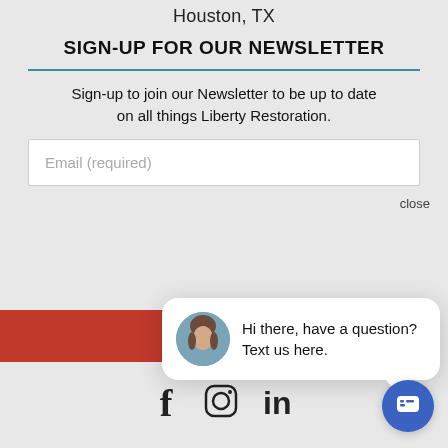Houston, TX
SIGN-UP FOR OUR NEWSLETTER
Sign-up to join our Newsletter to be up to date on all things Liberty Restoration.
Email (required)
close
[Figure (screenshot): Chat popup with avatar photo of a woman and text: Hi there, have a question? Text us here.]
[Figure (infographic): Social media icons: Facebook (f), Instagram (circle/camera), LinkedIn (in)]
[Figure (infographic): Blue circular chat button with message icon]